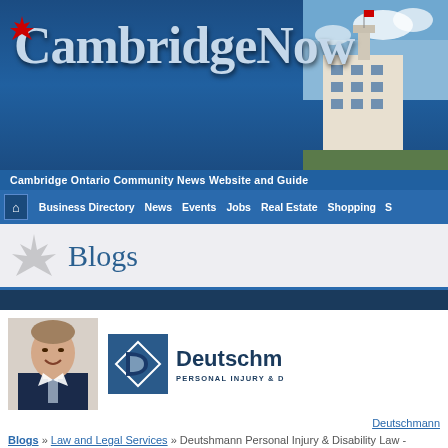CambridgeNow
Cambridge Ontario Community News Website and Guide
Business Directory | News | Events | Jobs | Real Estate | Shopping | S
Blogs
[Figure (photo): Profile photo of a smiling middle-aged man in a suit, and Deutschmann Personal Injury & Disability Law logo]
Deutschmann
Blogs » Law and Legal Services » Deutshmann Personal Injury & Disability Law - PERSONAL INJURY & DISABILITY LAW
Deutshmann Personal Injury & Disability Law - PERSONAL INJURY & DISABILITY LAW
« View Articles For August 2013